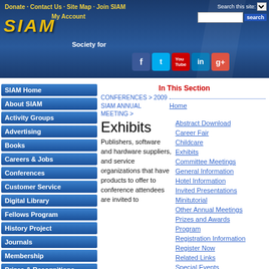SIAM website header with navigation links: Donate, Contact Us, Site Map, Join SIAM, My Account. SIAM logo. Social media icons: Facebook, Twitter, YouTube, LinkedIn, Google+. Search bar.
SIAM Home
About SIAM
Activity Groups
Advertising
Books
Careers & Jobs
Conferences
Customer Service
Digital Library
Fellows Program
History Project
Journals
Membership
Prizes & Recognitions
Proceedings
Public Awareness
Reports
Sections
SIAM News
Students
In This Section
CONFERENCES > 2009 SIAM ANNUAL MEETING >
Exhibits
Publishers, software and hardware suppliers, and service organizations that have products to offer to conference attendees are invited to
Home
Abstract Download
Career Fair
Childcare
Exhibits
Committee Meetings
General Information
Hotel Information
Invited Presentations
Minitutorial
Other Annual Meetings
Prizes and Awards
Program
Registration Information
Register Now
Related Links
Special Events